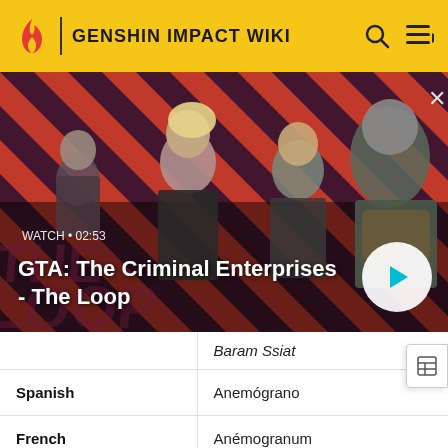GENSHIN IMPACT WIKI
[Figure (screenshot): Video banner for 'GTA: The Criminal Enterprises - The Loop' with diagonal red and dark striped background, characters in foreground, watch timer showing 02:53, and play button.]
|  | Baram Ssiat |
| Spanish | Anemógrano |
| French | Anémogranum |
| Russian | Анемогранум |
|  | Аремогранум |